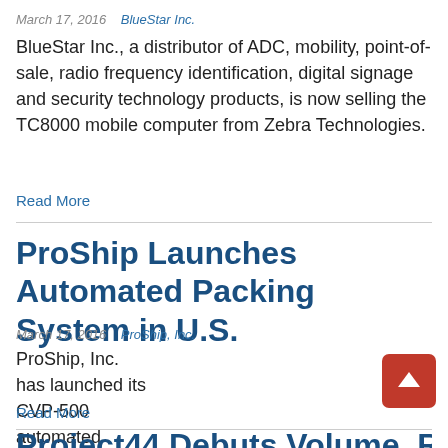March 17, 2016   BlueStar Inc.
BlueStar Inc., a distributor of ADC, mobility, point-of-sale, radio frequency identification, digital signage and security technology products, is now selling the TC8000 mobile computer from Zebra Technologies.
Read More
ProShip Launches Automated Packing System in U.S.
March 17, 2016   ProShip, Inc.
ProShip, Inc. has launched its CVP-500 automated packing system in the U.S.
Read More
Project44 Debuts Volume, Retire...